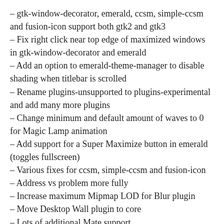– gtk-window-decorator, emerald, ccsm, simple-ccsm and fusion-icon support both gtk2 and gtk3
– Fix right click near top edge of maximized windows in gtk-window-decorator and emerald
– Add an option to emerald-theme-manager to disable shading when titlebar is scrolled
– Rename plugins-unsupported to plugins-experimental and add many more plugins
– Change minimum and default amount of waves to 0 for Magic Lamp animation
– Add support for a Super Maximize button in emerald (toggles fullscreen)
– Various fixes for ccsm, simple-ccsm and fusion-icon
– Address vs problem more fully
– Increase maximum Mipmap LOD for Blur plugin
– Move Desktop Wall plugin to core
– Lots of additional Mate support
– Fix crash related to animations
– Fix memory leaks in emerald